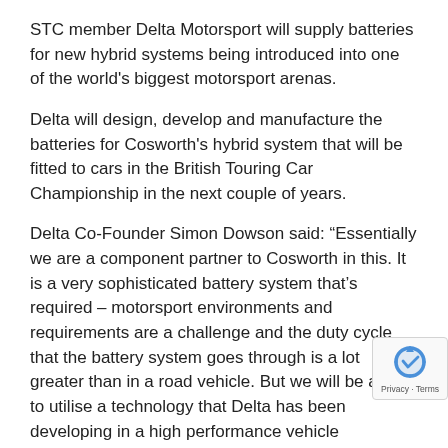STC member Delta Motorsport will supply batteries for new hybrid systems being introduced into one of the world's biggest motorsport arenas.
Delta will design, develop and manufacture the batteries for Cosworth's hybrid system that will be fitted to cars in the British Touring Car Championship in the next couple of years.
Delta Co-Founder Simon Dowson said: “Essentially we are a component partner to Cosworth in this. It is a very sophisticated battery system that’s required – motorsport environments and requirements are a challenge and the duty cycle that the battery system goes through is a lot greater than in a road vehicle. But we will be able to utilise a technology that Delta has been developing in a high performance vehicle application.”
Delta has previously run its own team in motorsport, competing and winning in GT and sportscar racing at international level.